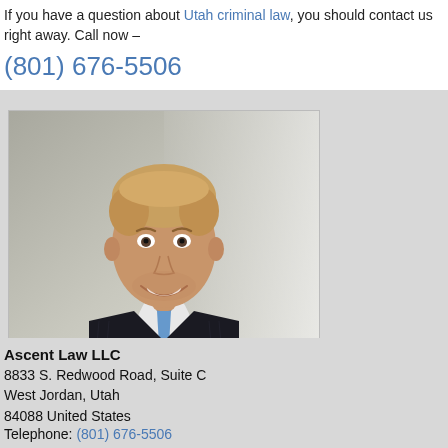If you have a question about Utah criminal law, you should contact us right away. Call now –
(801) 676-5506
[Figure (photo): Professional headshot of a man in a dark pinstripe suit with a blue tie, smiling, light background]
Ascent Law LLC
8833 S. Redwood Road, Suite C
West Jordan, Utah
84088 United States
Telephone: (801) 676-5506